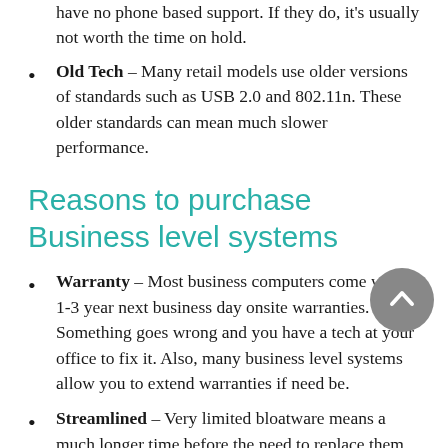have no phone based support. If they do, it's usually not worth the time on hold.
Old Tech – Many retail models use older versions of standards such as USB 2.0 and 802.11n. These older standards can mean much slower performance.
Reasons to purchase Business level systems
Warranty – Most business computers come with 1-3 year next business day onsite warranties. Something goes wrong and you have a tech at your office to fix it. Also, many business level systems allow you to extend warranties if need be.
Streamlined – Very limited bloatware means a much longer time before the need to replace them. Unlike home users businesses should be